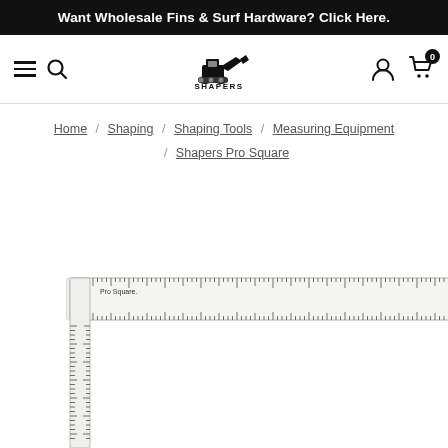Want Wholesale Fins & Surf Hardware? Click Here.
[Figure (logo): Shapers Manufacturers Co logo with excavator/machinery icon and company name]
Home / Shaping / Shaping Tools / Measuring Equipment / Shapers Pro Square
[Figure (photo): Shapers Pro Square ruler/measuring tool - an L-shaped ruler with measurement markings, labeled Pro Square and SHAPERS]